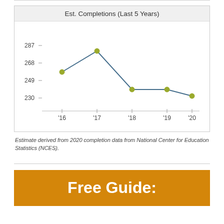[Figure (line-chart): Est. Completions (Last 5 Years)]
Estimate derived from 2020 completion data from National Center for Education Statistics (NCES).
Free Guide: